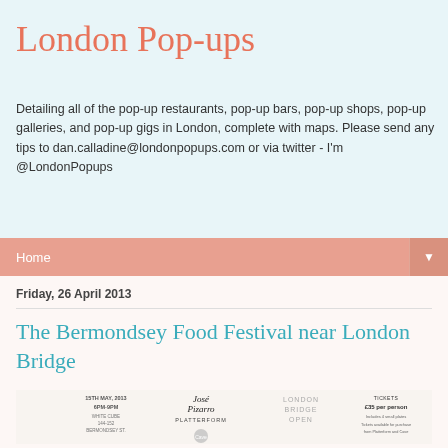London Pop-ups
Detailing all of the pop-up restaurants, pop-up bars, pop-up shops, pop-up galleries, and pop-up gigs in London, complete with maps. Please send any tips to dan.calladine@londonpopups.com or via twitter - I'm @LondonPopups
Home
Friday, 26 April 2013
The Bermondsey Food Festival near London Bridge
[Figure (other): Event poster for the Bermondsey Food Festival showing date 15th May 2013, 6PM-9PM, White Cube 144-152 Bermondsey St, José Pizarro, PLATTERFORM, Cave, LONDON BRIDGE OPEN, TICKETS £35 per person, includes 4 small plates. Tickets available for purchase from Platterform and Cave.]